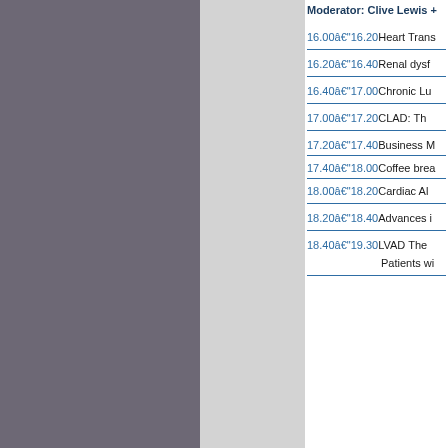Moderator: Clive Lewis +
16.00–  16.20 Heart Trans...
16.20– 16.40 Renal dysf...
16.40– 17.00 Chronic Lu...
17.00– 17.20 CLAD: Th...
17.20– 17.40 Business M...
17.40– 18.00 Coffee brea...
18.00– 18.20 Cardiac Al...
18.20– 18.40 Advances i...
18.40– 19.30 LVAD The... Patients wi...